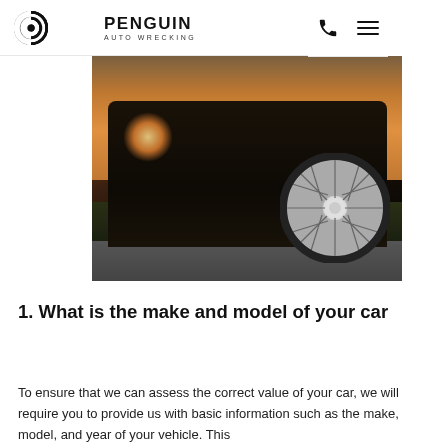PENGUIN AUTO WRECKING
[Figure (photo): Close-up side view of a classic dark-colored car with a chrome spoke wheel, photographed at golden hour sunset, parked on a road next to grass.]
1. What is the make and model of your car
To ensure that we can assess the correct value of your car, we will require you to provide us with basic information such as the make, model, and year of your vehicle. This